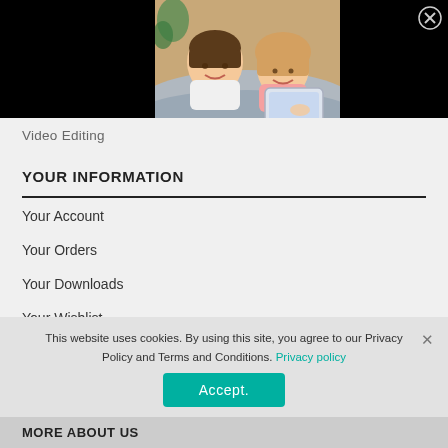[Figure (photo): Two children (a boy and a girl) lying down and looking at a tablet/book together, smiling, on a black banner background.]
Video Editing
YOUR INFORMATION
Your Account
Your Orders
Your Downloads
Your Wishlist
File Licenses
This website uses cookies. By using this site, you agree to our Privacy Policy and Terms and Conditions. Privacy policy
Accept.
MORE ABOUT US